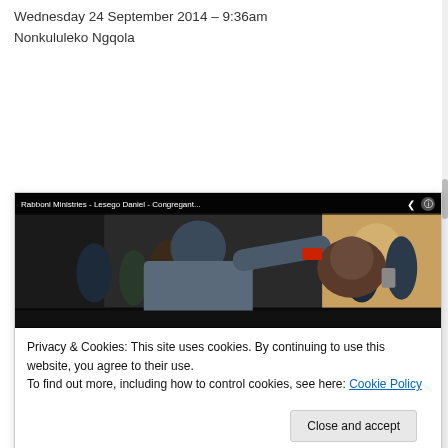Wednesday 24 September 2014 – 9:36am
Nonkululeko Ngqola
[Figure (photo): Video thumbnail from Rabboni Ministries - Lesego Daniel - Congregant... showing a crowd scene with people interacting, dark background with yellow building visible]
Privacy & Cookies: This site uses cookies. By continuing to use this website, you agree to their use.
To find out more, including how to control cookies, see here: Cookie Policy
Close and accept